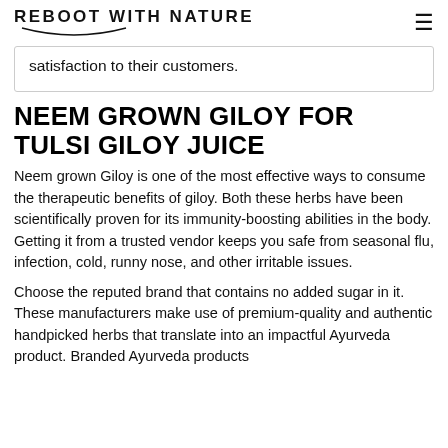REBOOT WITH NATURE
satisfaction to their customers.
NEEM GROWN GILOY FOR TULSI GILOY JUICE
Neem grown Giloy is one of the most effective ways to consume the therapeutic benefits of giloy. Both these herbs have been scientifically proven for its immunity-boosting abilities in the body. Getting it from a trusted vendor keeps you safe from seasonal flu, infection, cold, runny nose, and other irritable issues.
Choose the reputed brand that contains no added sugar in it. These manufacturers make use of premium-quality and authentic handpicked herbs that translate into an impactful Ayurveda product. Branded Ayurveda products